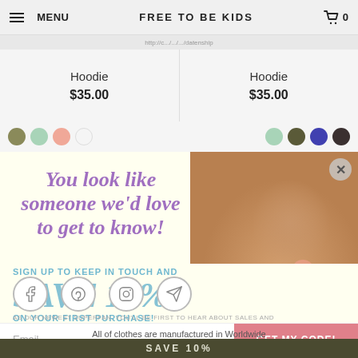MENU  FREE TO BE KIDS  0
http://c.../.../datenship
Hoodie  $35.00  |  Hoodie  $35.00
[Figure (screenshot): Color swatch circles: olive, mint, peach, white, mint, dark olive, navy, dark brown]
[Figure (screenshot): Popup modal with yellow background showing child photo, headline 'You look like someone we'd love to get to know!', save 10% offer, social follow icons, email signup, GET MY CODE button]
You look like someone we'd love to get to know!
SIGN UP TO KEEP IN TOUCH AND SAVE 10% ON YOUR FIRST PURCHASE!
FOLLOW
AS OUR NEWEST SUPERFAN, YOU'LL BE FIRST TO HEAR ABOUT SALES AND NEW DESIGNS. PINKY SWEAR!
Email
All of clothes are manufactured in Worldwide
GET MY CODE!
SAVE 10%